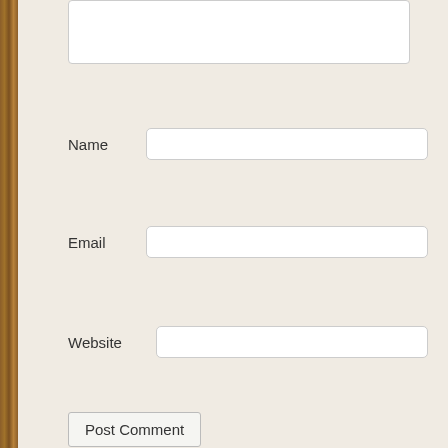[Figure (screenshot): Comment form with Name, Email, Website text input fields]
Name
Email
Website
Post Comment
Notify me of new comments via email.
Notify me of new posts via email.
This site uses Akismet to reduce spam. Learn how your comment da
Follow An Invincible Summer
Categories